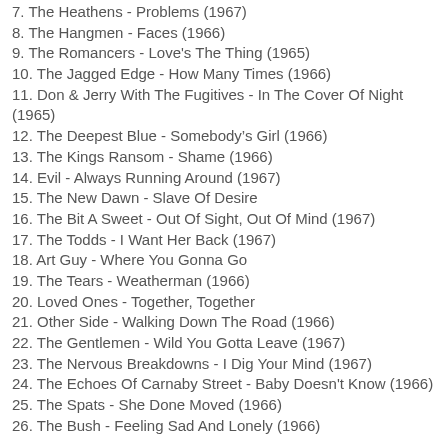7. The Heathens - Problems (1967)
8. The Hangmen - Faces (1966)
9. The Romancers - Love's The Thing (1965)
10. The Jagged Edge - How Many Times (1966)
11. Don & Jerry With The Fugitives - In The Cover Of Night (1965)
12. The Deepest Blue - Somebody's Girl (1966)
13. The Kings Ransom - Shame (1966)
14. Evil - Always Running Around (1967)
15. The New Dawn - Slave Of Desire
16. The Bit A Sweet - Out Of Sight, Out Of Mind (1967)
17. The Todds - I Want Her Back (1967)
18. Art Guy - Where You Gonna Go
19. The Tears - Weatherman (1966)
20. Loved Ones - Together, Together
21. Other Side - Walking Down The Road (1966)
22. The Gentlemen - Wild You Gotta Leave (1967)
23. The Nervous Breakdowns - I Dig Your Mind (1967)
24. The Echoes Of Carnaby Street - Baby Doesn't Know (1966)
25. The Spats - She Done Moved (1966)
26. The Bush - Feeling Sad And Lonely (1966)